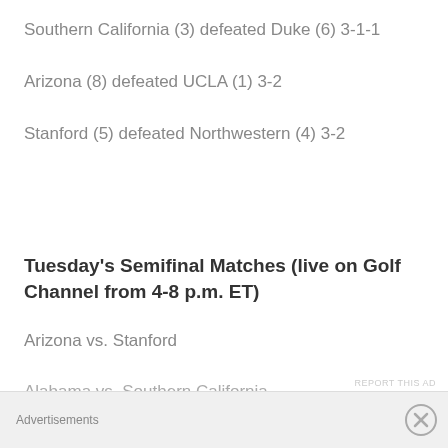Southern California (3) defeated Duke (6) 3-1-1
Arizona (8) defeated UCLA (1) 3-2
Stanford (5) defeated Northwestern (4) 3-2
Tuesday's Semifinal Matches (live on Golf Channel from 4-8 p.m. ET)
Arizona vs. Stanford
Alabama vs. Southern California
Advertisements